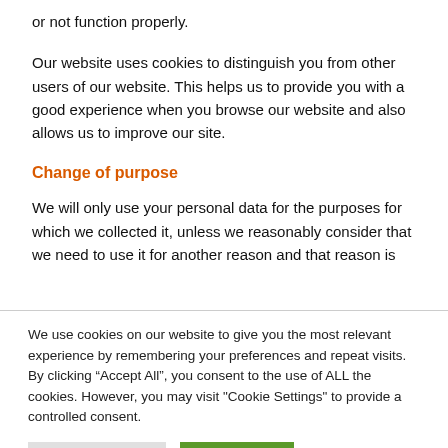or not function properly.
Our website uses cookies to distinguish you from other users of our website. This helps us to provide you with a good experience when you browse our website and also allows us to improve our site.
Change of purpose
We will only use your personal data for the purposes for which we collected it, unless we reasonably consider that we need to use it for another reason and that reason is
We use cookies on our website to give you the most relevant experience by remembering your preferences and repeat visits. By clicking “Accept All”, you consent to the use of ALL the cookies. However, you may visit "Cookie Settings" to provide a controlled consent.
Cookie Settings | Accept All